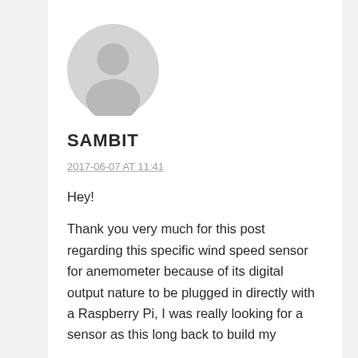[Figure (illustration): Default user avatar icon — grey circle with silhouette of a person (head and shoulders)]
SAMBIT
2017-06-07 AT 11:41
Hey!

Thank you very much for this post regarding this specific wind speed sensor for anemometer because of its digital output nature to be plugged in directly with a Raspberry Pi, I was really looking for a sensor as this long back to build my